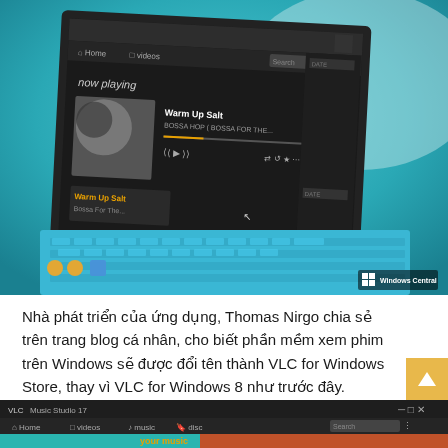[Figure (screenshot): Photo of a Surface Pro laptop with Windows 10 Music app showing 'now playing' screen with a song called 'Warm Up Salt', blue keyboard, Windows Central watermark in bottom right]
Nhà phát triển của ứng dụng, Thomas Nirgo chia sẻ trên trang blog cá nhân, cho biết phần mềm xem phim trên Windows sẽ được đổi tên thành VLC for Windows Store, thay vì VLC for Windows 8 như trước đây.
[Figure (screenshot): Partial screenshot of VLC for Windows Store app showing home screen with 'your music' section]